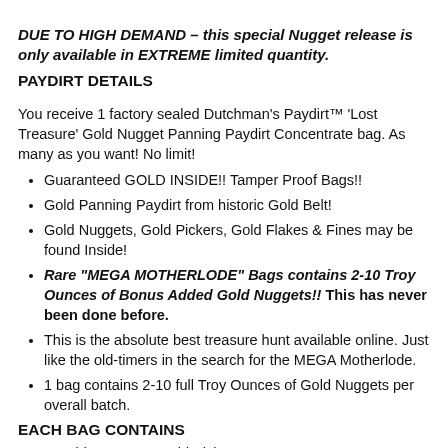DUE TO HIGH DEMAND – this special Nugget release is only available in EXTREME limited quantity.
PAYDIRT DETAILS
You receive 1 factory sealed Dutchman's Paydirt™ 'Lost Treasure' Gold Nugget Panning Paydirt Concentrate bag. As many as you want! No limit!
Guaranteed GOLD INSIDE!! Tamper Proof Bags!!
Gold Panning Paydirt from historic Gold Belt!
Gold Nuggets, Gold Pickers, Gold Flakes & Fines may be found Inside!
Rare "MEGA MOTHERLODE" Bags contains 2-10 Troy Ounces of Bonus Added Gold Nuggets!! This has never been done before.
This is the absolute best treasure hunt available online. Just like the old-timers in the search for the MEGA Motherlode.
1 bag contains 2-10 full Troy Ounces of Gold Nuggets per overall batch.
EACH BAG CONTAINS
1 Gold Nugget or Gold Picker
+ a whole bunch of gold flakes